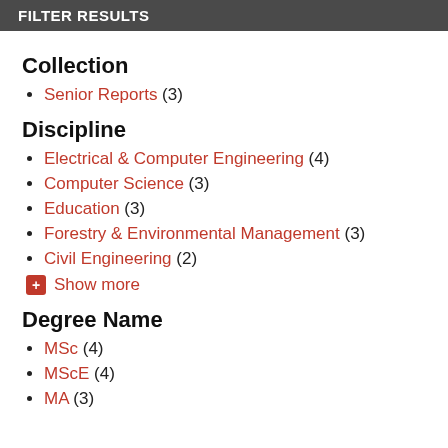FILTER RESULTS
Collection
Senior Reports (3)
Discipline
Electrical & Computer Engineering (4)
Computer Science (3)
Education (3)
Forestry & Environmental Management (3)
Civil Engineering (2)
Show more
Degree Name
MSc (4)
MScE (4)
MA (3)